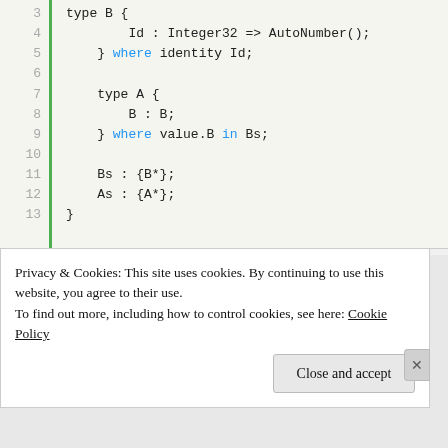[Figure (screenshot): Code editor screenshot showing lines 3-13 of code with line numbers on left side and a green vertical bar. Code includes type B with Id Integer32 AutoNumber, type A with B:B where value.B in Bs, and Bs and As set definitions.]
[Figure (photo): Photo of a person in white shirt and jeans leaping/diving horizontally against a bright blue sky background, reaching forward with one arm.]
Privacy & Cookies: This site uses cookies. By continuing to use this website, you agree to their use.
To find out more, including how to control cookies, see here: Cookie Policy
Close and accept